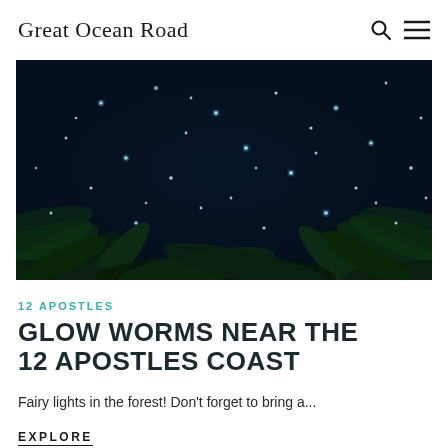Great Ocean Road
[Figure (photo): Night-time forest scene showing fern fronds against a dark navy blue sky filled with glowing worm lights (bioluminescent glow worms) scattered among the foliage, creating a fairy-light effect.]
12 APOSTLES
GLOW WORMS NEAR THE 12 APOSTLES COAST
Fairy lights in the forest! Don't forget to bring a...
EXPLORE